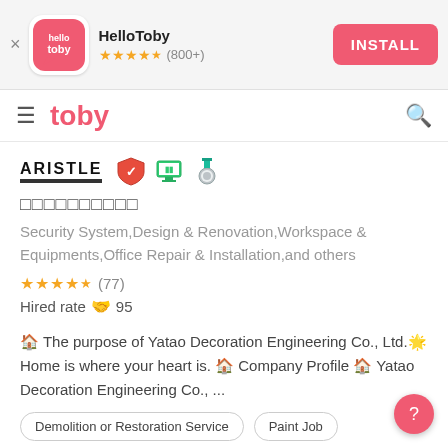[Figure (screenshot): HelloToby app install banner with icon, star rating (800+), and INSTALL button]
toby
[Figure (logo): ARISTLE logo with badge icons]
□□□□□□□□□□
Security System,Design & Renovation,Workspace & Equipments,Office Repair & Installation,and others
★★★★½ (77)
Hired rate 🤝 95
🏠 The purpose of Yatao Decoration Engineering Co., Ltd.🌟 Home is where your heart is. 🏠 Company Profile 🏠 Yatao Decoration Engineering Co., ...
Demolition or Restoration Service
Paint Job